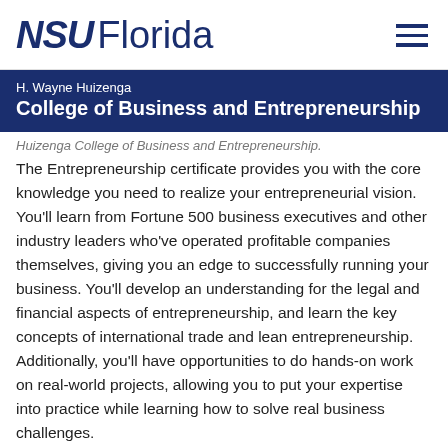[Figure (logo): NSU Florida logo with hamburger menu icon]
H. Wayne Huizenga
College of Business and Entrepreneurship
Huizenga College of Business and Entrepreneurship.
The Entrepreneurship certificate provides you with the core knowledge you need to realize your entrepreneurial vision. You'll learn from Fortune 500 business executives and other industry leaders who've operated profitable companies themselves, giving you an edge to successfully running your business. You'll develop an understanding for the legal and financial aspects of entrepreneurship, and learn the key concepts of international trade and lean entrepreneurship. Additionally, you'll have opportunities to do hands-on work on real-world projects, allowing you to put your expertise into practice while learning how to solve real business challenges.
The Entrepreneurship certificate will empower you to create your own business, acquire an existing business or